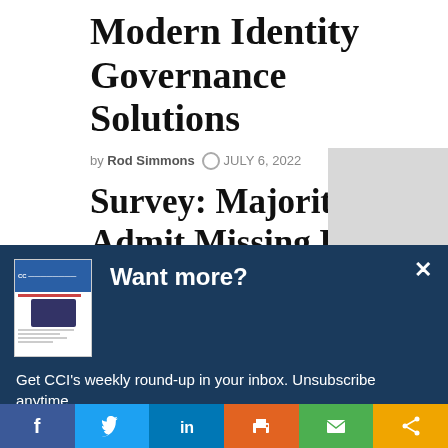Modern Identity Governance Solutions
by Rod Simmons  ©  JULY 6, 2022
Survey: Majority Admit Missing Key
[Figure (screenshot): Gray placeholder thumbnail for article image]
[Figure (screenshot): Modal dialog with dark blue background. Header: 'Want more?' with newsletter thumbnail image. Body: 'Get CCI's weekly round-up in your inbox. Unsubscribe anytime.' Button: 'Let's do this!']
[Figure (infographic): Social sharing bar at bottom with six buttons: Facebook (blue), Twitter (light blue), LinkedIn (dark blue), Print (orange), Email (green), Share (gold/amber)]